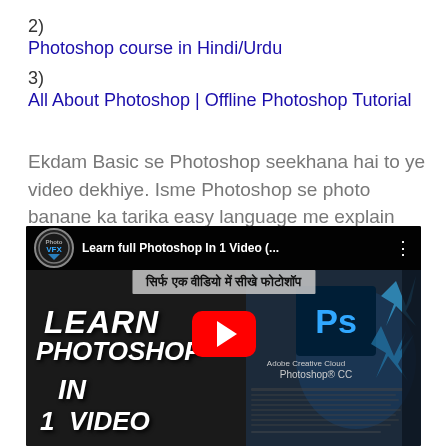2) Photoshop course in Hindi/Urdu
3) All About Photoshop | Offline Photoshop Tutorial
Ekdam Basic se Photoshop seekhana hai to ye video dekhiye. Isme Photoshop se photo banane ka tarika easy language me explain kiya gya hai.
[Figure (screenshot): YouTube video thumbnail for 'Learn full Photoshop In 1 Video' with Hindi subtitle text and Photoshop CC branding, showing a play button overlay. Channel icon shows Photo VFX logo.]